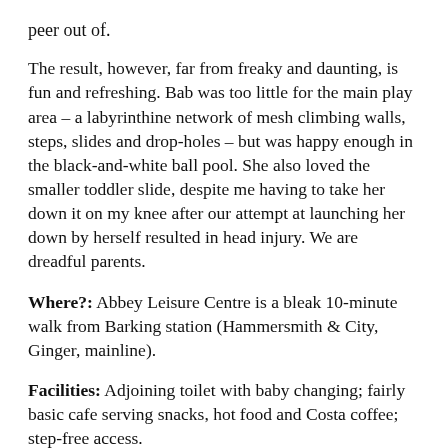peer out of.
The result, however, far from freaky and daunting, is fun and refreshing. Bab was too little for the main play area – a labyrinthine network of mesh climbing walls, steps, slides and drop-holes – but was happy enough in the black-and-white ball pool. She also loved the smaller toddler slide, despite me having to take her down it on my knee after our attempt at launching her down by herself resulted in head injury. We are dreadful parents.
Where?: Abbey Leisure Centre is a bleak 10-minute walk from Barking station (Hammersmith & City, Ginger, mainline).
Facilities: Adjoining toilet with baby changing; fairly basic cafe serving snacks, hot food and Costa coffee; step-free access.
Best Bits: The Idol has absolutely terrible online reviews and I can't for the life of me work out why. It's super clean –